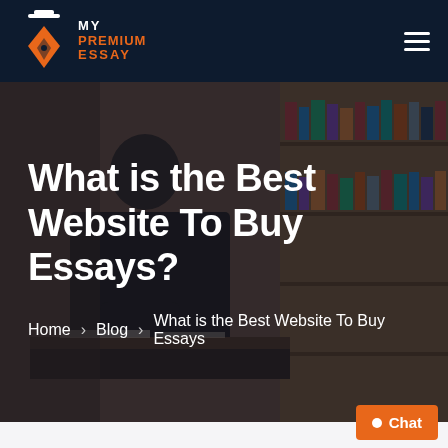[Figure (logo): My Premium Essay logo with orange pen nib icon and text]
[Figure (photo): Hero background showing a person studying at a library with bookshelves, dark overlay applied]
What is the Best Website To Buy Essays?
Home  Blog  What is the Best Website To Buy Essays
Chat